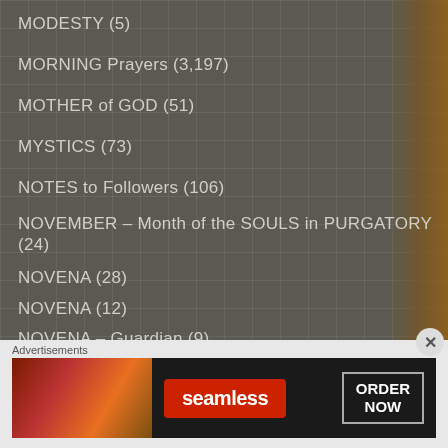MODESTY (5)
MORNING Prayers (3,197)
MOTHER of GOD (51)
MYSTICS (73)
NOTES to Followers (106)
NOVEMBER – Month of the SOULS in PURGATORY (24)
NOVENA (28)
NOVENA (12)
NOVENA – Guardian (9)
NOVENAS (648)
Advertisements